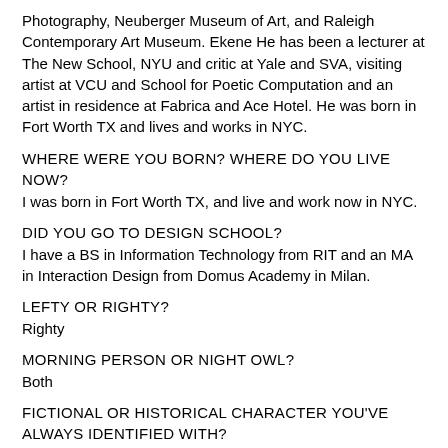Photography, Neuberger Museum of Art, and Raleigh Contemporary Art Museum. Ekene He has been a lecturer at The New School, NYU and critic at Yale and SVA, visiting artist at VCU and School for Poetic Computation and an artist in residence at Fabrica and Ace Hotel. He was born in Fort Worth TX and lives and works in NYC.
WHERE WERE YOU BORN? WHERE DO YOU LIVE NOW?
I was born in Fort Worth TX, and live and work now in NYC.
DID YOU GO TO DESIGN SCHOOL?
I have a BS in Information Technology from RIT and an MA in Interaction Design from Domus Academy in Milan.
LEFTY OR RIGHTY?
Righty
MORNING PERSON OR NIGHT OWL?
Both
FICTIONAL OR HISTORICAL CHARACTER YOU'VE ALWAYS IDENTIFIED WITH?
Huey from Boondocks
ARE YOU MUSICAL AND/OR DO YOU PLAY AN INSTRUMENT?
I'm musical but don't play an instrument. Currently, I'm working